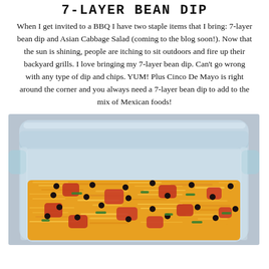7-LAYER BEAN DIP
When I get invited to a BBQ I have two staple items that I bring: 7-layer bean dip and Asian Cabbage Salad (coming to the blog soon!). Now that the sun is shining, people are itching to sit outdoors and fire up their backyard grills. I love bringing my 7-layer bean dip. Can't go wrong with any type of dip and chips. YUM! Plus Cinco De Mayo is right around the corner and you always need a 7-layer bean dip to add to the mix of Mexican foods!
[Figure (photo): A glass baking dish filled with 7-layer bean dip topped with shredded orange cheese, diced red tomatoes, black beans, and green onions, on a light blue background.]